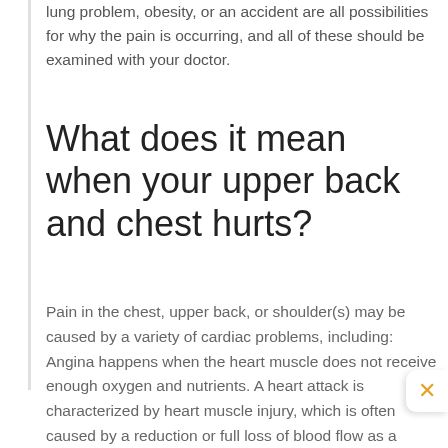lung problem, obesity, or an accident are all possibilities for why the pain is occurring, and all of these should be examined with your doctor.
What does it mean when your upper back and chest hurts?
Pain in the chest, upper back, or shoulder(s) may be caused by a variety of cardiac problems, including: Angina happens when the heart muscle does not receive enough oxygen and nutrients. A heart attack is characterized by heart muscle injury, which is often caused by a reduction or full loss of blood flow as a result of a blocked artery.